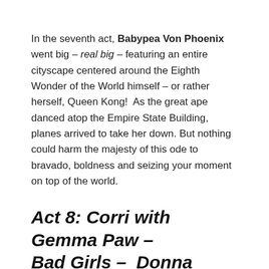In the seventh act, Babypea Von Phoenix went big – real big – featuring an entire cityscape centered around the Eighth Wonder of the World himself – or rather herself, Queen Kong!  As the great ape danced atop the Empire State Building, planes arrived to take her down. But nothing could harm the majesty of this ode to bravado, boldness and seizing your moment on top of the world.
Act 8: Corri with Gemma Paw – Bad Girls –  Donna Summer
[Figure (photo): Image placeholder with alt text 'elysium-16sep16 - Corri']